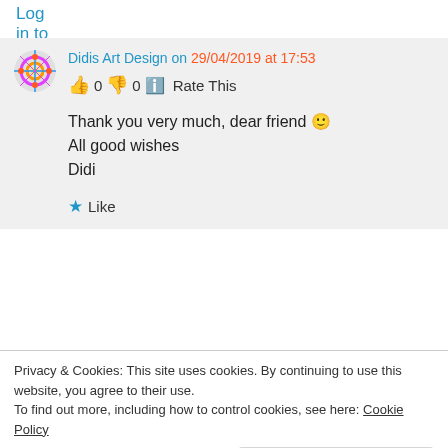Log in to Reply
Didis Art Design on 29/04/2019 at 17:53
👍 0 👎 0 ℹ️ Rate This
Thank you very much, dear friend 🙂
All good wishes
Didi
★ Like
Log in to Reply
Privacy & Cookies: This site uses cookies. By continuing to use this website, you agree to their use.
To find out more, including how to control cookies, see here: Cookie Policy
Close and accept
Good afternoon Didi, my spiritual world is very